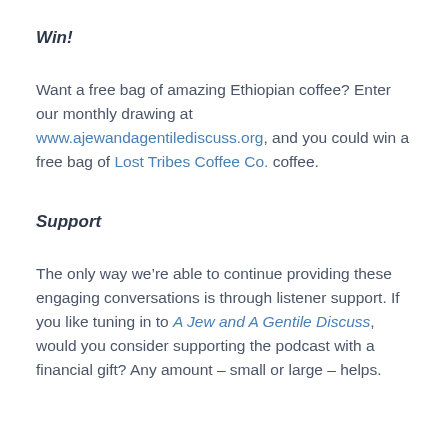Win!
Want a free bag of amazing Ethiopian coffee? Enter our monthly drawing at www.ajewandagentilediscuss.org, and you could win a free bag of Lost Tribes Coffee Co. coffee.
Support
The only way we’re able to continue providing these engaging conversations is through listener support. If you like tuning in to A Jew and A Gentile Discuss, would you consider supporting the podcast with a financial gift? Any amount – small or large – helps.